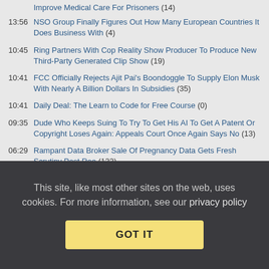Improve Medical Care For Prisoners (14)
13:56 NSO Group Finally Figures Out How Many European Countries It Does Business With (4)
10:45 Ring Partners With Cop Reality Show Producer To Produce New Third-Party Generated Clip Show (19)
10:41 FCC Officially Rejects Ajit Pai's Boondoggle To Supply Elon Musk With Nearly A Billion Dollars In Subsidies (35)
10:41 Daily Deal: The Learn to Code for Free Course (0)
09:35 Dude Who Keeps Suing To Try To Get His AI To Get A Patent Or Copyright Loses Again: Appeals Court Once Again Says No (13)
06:29 Rampant Data Broker Sale Of Pregnancy Data Gets Fresh Scrutiny Post Roe (133)
Sunday
12:00 Funniest/Most Inisghtful Comments Of The Week At Techdirt (2)
Saturday
This site, like most other sites on the web, uses cookies. For more information, see our privacy policy
GOT IT